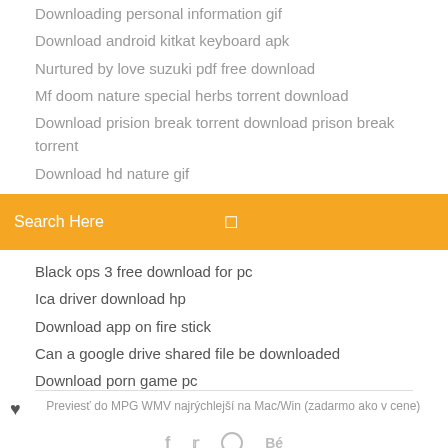Downloading personal information gif
Download android kitkat keyboard apk
Nurtured by love suzuki pdf free download
Mf doom nature special herbs torrent download
Download prision break torrent download prison break torrent
Download hd nature gif
[Figure (screenshot): Orange search bar with text 'Search Here' and a search icon on the right]
Black ops 3 free download for pc
Ica driver download hp
Download app on fire stick
Can a google drive shared file be downloaded
Download porn game pc
Previesť do MPG WMV najrýchlejší na Mac/Win (zadarmo ako v cene)
[Figure (infographic): Social media icons: Facebook, Twitter, globe/web, Behance]